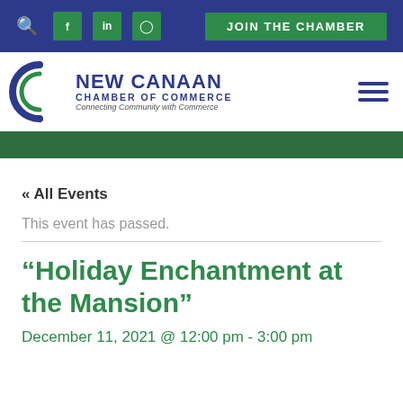JOIN THE CHAMBER
[Figure (logo): New Canaan Chamber of Commerce logo with circular C mark and text 'Connecting Community with Commerce']
« All Events
This event has passed.
“Holiday Enchantment at the Mansion”
December 11, 2021 @ 12:00 pm - 3:00 pm